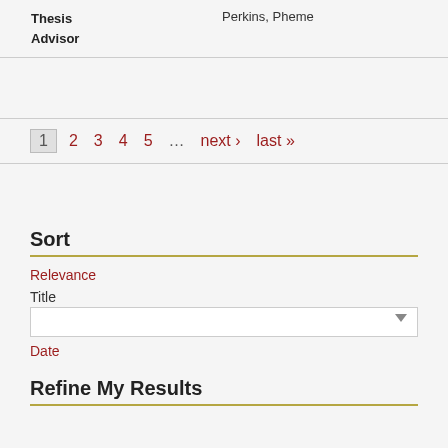| Field | Value |
| --- | --- |
| Thesis Advisor | Perkins, Pheme |
1 2 3 4 5 … next › last »
Sort
Relevance
Title
Date
Refine My Results